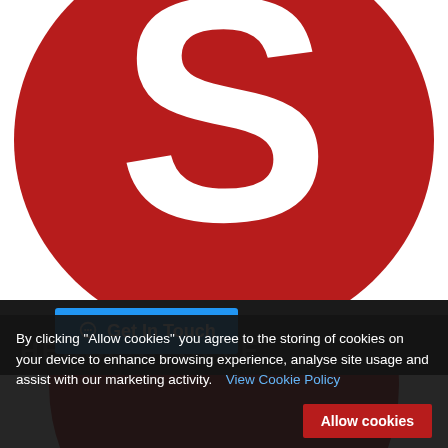[Figure (logo): Red circular logo with white 'S' letter, Hedge People brand logo — top portion visible]
[Figure (logo): Navigation bar with 'Get In Touch' button in blue and 'HEDGE PEOPLE' text watermark]
[Figure (logo): Red circular logo — bottom portion visible below navigation bar]
By clicking "Allow cookies" you agree to the storing of cookies on your device to enhance browsing experience, analyse site usage and assist with our marketing activity. View Cookie Policy